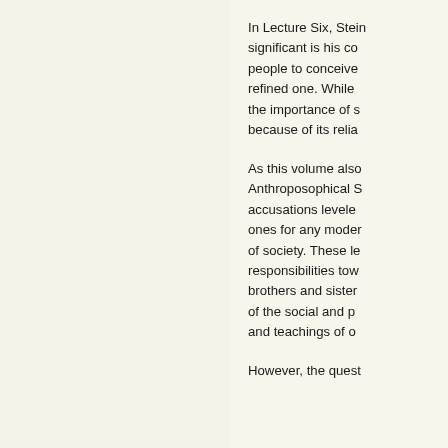In Lecture Six, Steiner... significant is his co... people to conceive... refined one. While ... the importance of s... because of its relia...
As this volume also... Anthroposophical S... accusations levele... ones for any moder... of society. These le... responsibilities tow... brothers and sister... of the social and p... and teachings of o...
However, the quest...